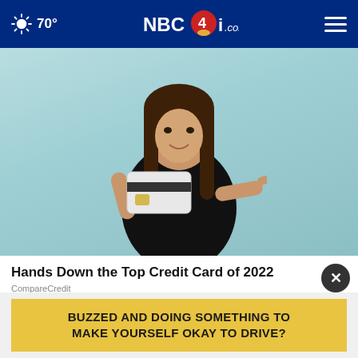70° NBC4i.com
[Figure (photo): Young woman with long dark hair wearing a black top, holding up a credit card and pointing to it, against a light teal background]
Hands Down the Top Credit Card of 2022
CompareCredit
BUZZED AND DOING SOMETHING TO MAKE YOURSELF OKAY TO DRIVE?